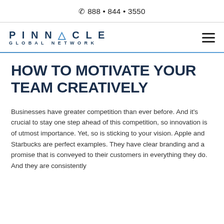📞 888 • 844 • 3550
[Figure (logo): Pinnacle Global Network logo with hamburger menu icon]
HOW TO MOTIVATE YOUR TEAM CREATIVELY
Businesses have greater competition than ever before. And it's crucial to stay one step ahead of this competition, so innovation is of utmost importance. Yet, so is sticking to your vision. Apple and Starbucks are perfect examples. They have clear branding and a promise that is conveyed to their customers in everything they do. And they are consistently...